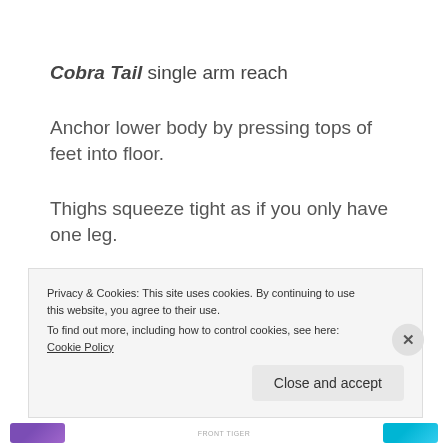Cobra Tail single arm reach
Anchor lower body by pressing tops of feet into floor.
Thighs squeeze tight as if you only have one leg.
Hip press into Bosu ball below the midline of the ball.
Privacy & Cookies: This site uses cookies. By continuing to use this website, you agree to their use.
To find out more, including how to control cookies, see here: Cookie Policy
Close and accept